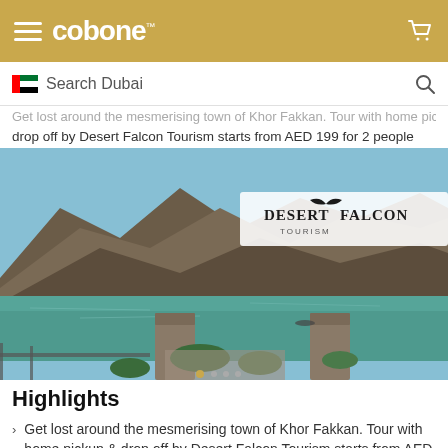cobone (logo) - navigation header with hamburger menu and cart icon
Search Dubai
Get lost around the mesmerising town of Khor Fakkan. Tour with home pickup & drop off by Desert Falcon Tourism starts from AED 199 for 2 people
[Figure (photo): Scenic view of Khor Fakkan - turquoise lake/fjord surrounded by rocky mountains, stone pillars in foreground, Desert Falcon Tourism logo watermark in top right]
Highlights
Get lost around the mesmerising town of Khor Fakkan. Tour with home pickup & drop off by Desert Falcon Tourism starts from AED 199 for 2